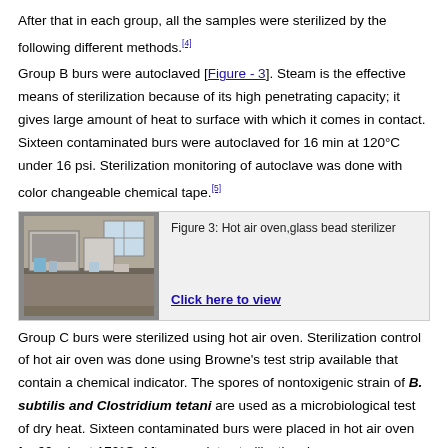After that in each group, all the samples were sterilized by the following different methods.[4]
Group B burs were autoclaved [Figure - 3]. Steam is the effective means of sterilization because of its high penetrating capacity; it gives large amount of heat to surface with which it comes in contact. Sixteen contaminated burs were autoclaved for 16 min at 120°C under 16 psi. Sterilization monitoring of autoclave was done with color changeable chemical tape.[5]
[Figure (photo): Photo of hot air oven and glass bead sterilizer laboratory equipment, with caption 'Figure 3: Hot air oven,glass bead sterilizer' and a 'Click here to view' link]
Figure 3: Hot air oven,glass bead sterilizer
Group C burs were sterilized using hot air oven. Sterilization control of hot air oven was done using Browne's test strip available that contain a chemical indicator. The spores of nontoxigenic strain of B. subtilis and Clostridium tetani are used as a microbiological test of dry heat. Sixteen contaminated burs were placed in hot air oven for 60 min at 170°C. After complete sterilization, burs were recovered and sent for microbiological culture.